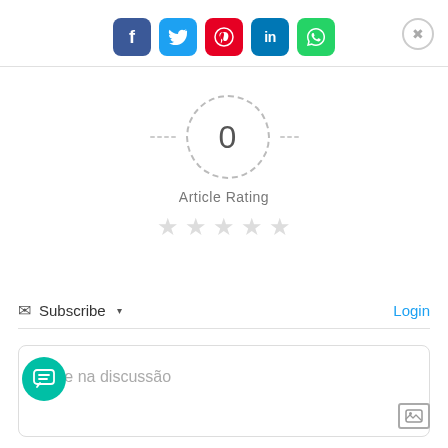[Figure (infographic): Social share buttons: Facebook (blue), Twitter (light blue), Pinterest (red), LinkedIn (dark blue), WhatsApp (green), and a close (X) button on the right]
[Figure (infographic): Article rating widget showing '0' in a dashed circle with dashes on each side, 'Article Rating' label, and 5 empty (grey) stars below]
Subscribe ▾
Login
Entre na discussão
[Figure (infographic): Teal circular chat/comment FAB button with chat icon, and an image icon in bottom right]